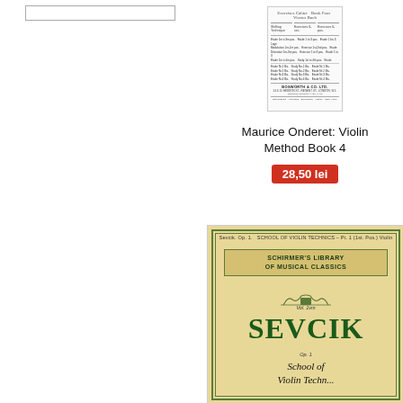[Figure (other): Search box / filter UI on left column]
[Figure (photo): Book cover image of Maurice Onderet Violin Method Book 4, showing a catalog/table of contents page published by Bosworth & Co. Ltd.]
Maurice Onderet: Violin Method Book 4
28,50 lei
[Figure (photo): Book cover of Sevcik Op.1 School of Violin Technics Pt.1 (1st Pos.) Violin, Schirmer's Library of Musical Classics, showing large green SEVCIK text on tan/cream background with ornate border]